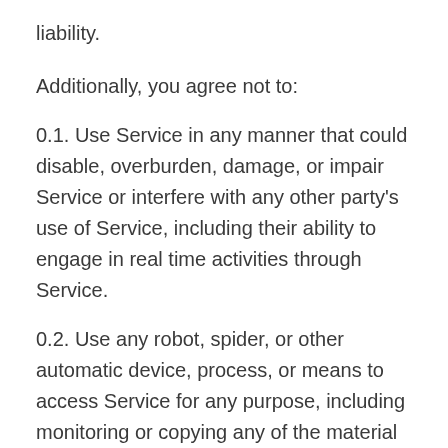liability.
Additionally, you agree not to:
0.1. Use Service in any manner that could disable, overburden, damage, or impair Service or interfere with any other party’s use of Service, including their ability to engage in real time activities through Service.
0.2. Use any robot, spider, or other automatic device, process, or means to access Service for any purpose, including monitoring or copying any of the material on Service.
0.3. Use any manual process to monitor or copy any of the material on Service or for any other